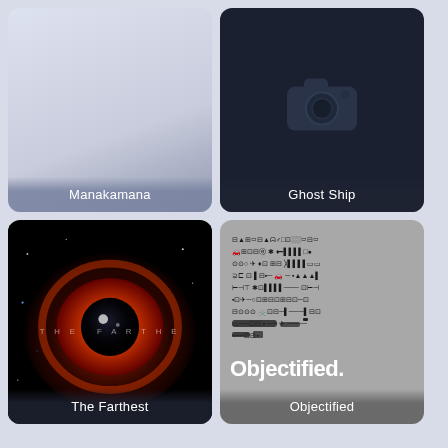[Figure (screenshot): Movie/documentary thumbnail for Manakamana with light blue-grey gradient background]
Manakamana
[Figure (screenshot): Movie/documentary thumbnail for Ghost Ship with dark background and camera placeholder icon]
Ghost Ship
[Figure (screenshot): Movie/documentary thumbnail for The Farthest showing a fiery eye/nebula in space]
The Farthest
[Figure (screenshot): Movie/documentary thumbnail for Objectified showing various small object icons on grey background with bold white Objectified. text]
Objectified